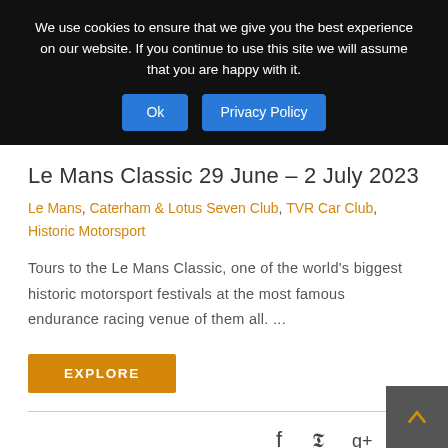We use cookies to ensure that we give you the best experience on our website. If you continue to use this site we will assume that you are happy with it.
Ok | Privacy Policy
Le Mans Classic 29 June – 2 July 2023
Le Mans, Caterham & Lotus Seven Club, TVR Car Club, Historic Motorsport
Tours to the Le Mans Classic, one of the world's biggest historic motorsport festivals at the most famous endurance racing venue of them all. ...
EXPLORE
f  𝕲  g+  p